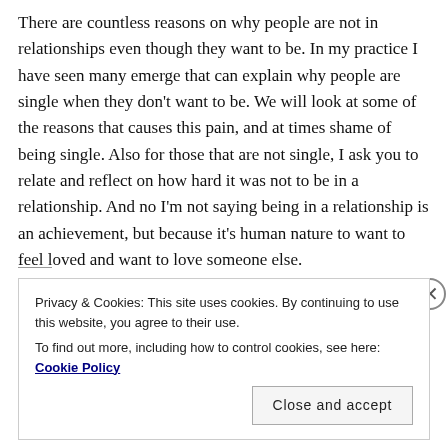There are countless reasons on why people are not in relationships even though they want to be. In my practice I have seen many emerge that can explain why people are single when they don't want to be. We will look at some of the reasons that causes this pain, and at times shame of being single. Also for those that are not single, I ask you to relate and reflect on how hard it was not to be in a relationship. And no I'm not saying being in a relationship is an achievement, but because it's human nature to want to feel loved and want to love someone else.
Privacy & Cookies: This site uses cookies. By continuing to use this website, you agree to their use. To find out more, including how to control cookies, see here: Cookie Policy